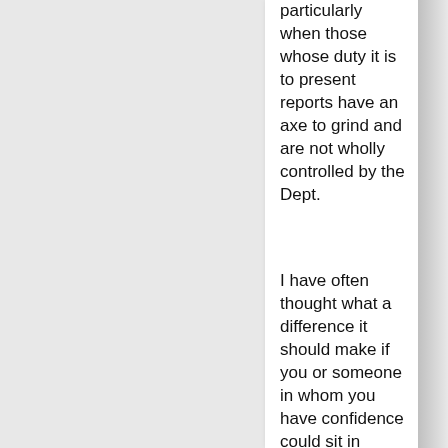particularly when those whose duty it is to present reports have an axe to grind and are not wholly controlled by the Dept.
I have often thought what a difference it should make if you or someone in whom you have confidence could sit in incognito and watch the